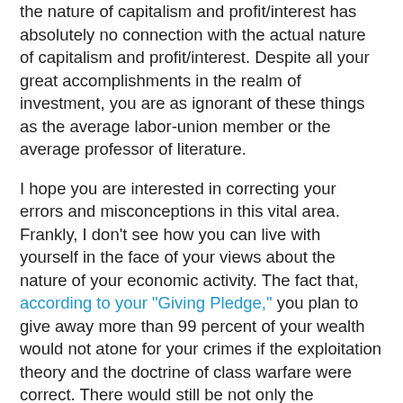the nature of capitalism and profit/interest has absolutely no connection with the actual nature of capitalism and profit/interest. Despite all your great accomplishments in the realm of investment, you are as ignorant of these things as the average labor-union member or the average professor of literature.
I hope you are interested in correcting your errors and misconceptions in this vital area. Frankly, I don't see how you can live with yourself in the face of your views about the nature of your economic activity. The fact that, according to your "Giving Pledge," you plan to give away more than 99 percent of your wealth would not atone for your crimes if the exploitation theory and the doctrine of class warfare were correct. There would still be not only the deadweight loss of everything that you and your family have personally consumed over the years that was stolen from others, from the occasional ice cream soda you reportedly like to your private jet. There would also be the fact that whatever you might now give away would not be any compensation to your actual victims, many of whom have passed away by now or are too old to enjoy it as they might have at the time they